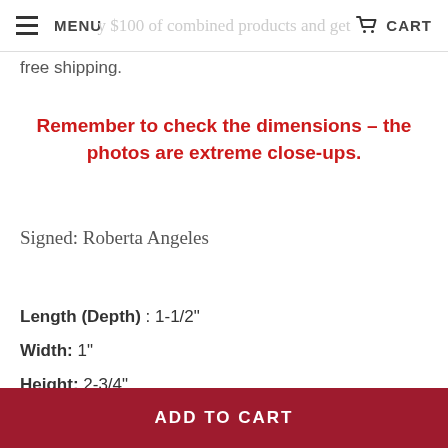MENU  [header banner text] CART
free shipping.
Remember to check the dimensions - the photos are extreme close-ups.
Signed: Roberta Angeles
Length (Depth) : 1-1/2"
Width: 1"
Height:  2-3/4"
Weight: .2oz/7g
ADD TO CART